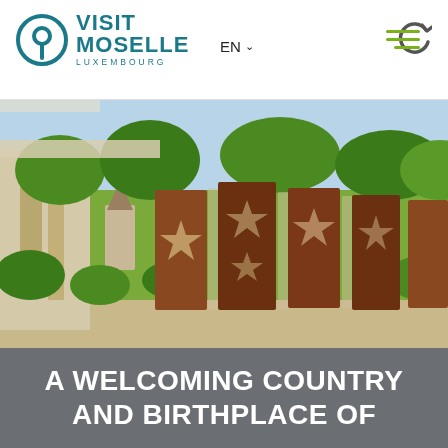VISIT MOSELLE LUXEMBOURG — EN (language selector) — hamburger menu
[Figure (photo): Outdoor sculpture installation featuring tall rusted corten steel panels with star cutouts, set against a background of green trees, a stone church steeple, and a concrete bridge structure. Bright daylight, lush green foliage surrounds the sculptures mounted on a stone plinth.]
A WELCOMING COUNTRY AND BIRTHPLACE OF